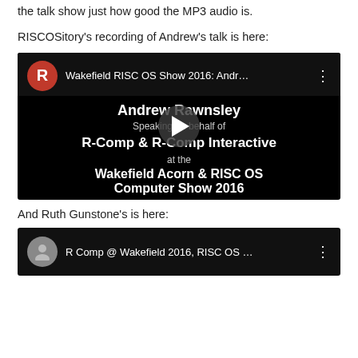the talk show just how good the MP3 audio is.
RISCOSitory's recording of Andrew's talk is here:
[Figure (screenshot): YouTube video embed showing 'Wakefield RISC OS Show 2016: Andr...' with Andrew Rawnsley speaking on behalf of R-Comp & R-Comp Interactive at Wakefield Acorn & RISC OS Computer Show 2016, with a play button overlay]
And Ruth Gunstone's is here:
[Figure (screenshot): YouTube video embed showing 'R Comp @ Wakefield 2016, RISC OS ...' with a gray avatar and three-dot menu]